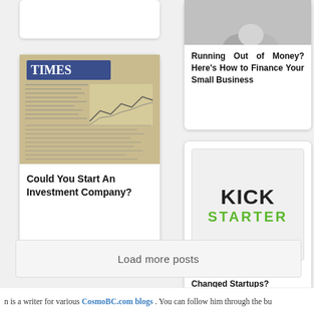[Figure (photo): Partial top-left white card, cropped]
[Figure (photo): Newspaper with financial charts and stock data - photo for investment company card]
Could You Start An Investment Company?
[Figure (photo): Coins or money image at top of finance card]
Running Out of Money? Here's How to Finance Your Small Business
[Figure (logo): Kickstarter logo - KICK in dark color, STARTER in green]
How Has Kickstarter Changed Startups?
[Figure (photo): Partial right card with How text]
[Figure (photo): Partial right card with dark image - Bitcoin related]
Bitcoi... Shou...
Load more posts
n is a writer for various CosmoBC.com blogs. You can follow him through the bu